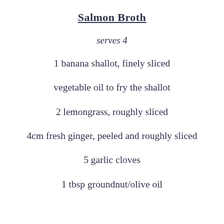Salmon Broth
serves 4
1 banana shallot, finely sliced
vegetable oil to fry the shallot
2 lemongrass, roughly sliced
4cm fresh ginger, peeled and roughly sliced
5 garlic cloves
1 tbsp groundnut/olive oil